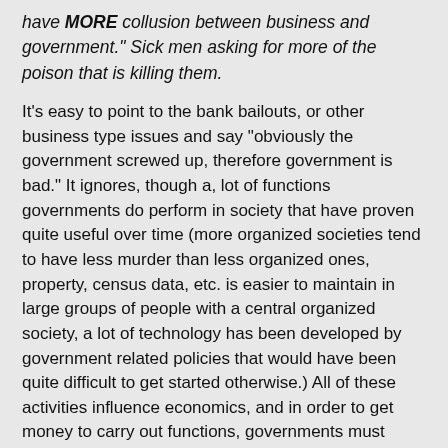have MORE collusion between business and government."​ Sick men asking for more of the poison that is killing them.
It's easy to point to the bank bailouts, or other business type issues and say "obviously the government screwed up, therefore government is bad." It ignores, though a, lot of functions governments do perform in society that have proven quite useful over time (more organized societies tend to have less murder than less organized ones, property, census data, etc. is easier to maintain in large groups of people with a central organized society, a lot of technology has been developed by government related policies that would have been quite difficult to get started otherwise.) All of these activities influence economics, and in order to get money to carry out functions, governments must interfere in the economy.
In order to tell, for example, whether certain types of